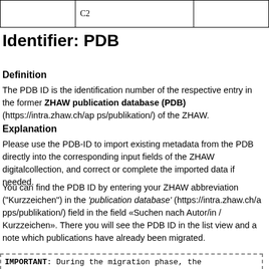|  | C2 |  |
Identifier: PDB
Definition
The PDB ID is the identification number of the respective entry in the former ZHAW publication database (PDB) (https://intra.zhaw.ch/apps/publikation/) of the ZHAW.
Explanation
Please use the PDB-ID to import existing metadata from the PDB directly into the corresponding input fields of the ZHAW digitalcollection, and correct or complete the imported data if needed.
You can find the PDB ID by entering your ZHAW abbreviation ("Kurzzeichen") in the 'publication database' (https://intra.zhaw.ch/apps/publikation/) field in the field «Suchen nach Autor/in / Kurzzeichen». There you will see the PDB ID in the list view and a note which publications have already been migrated.
IMPORTANT: During the migration phase, the publications from both